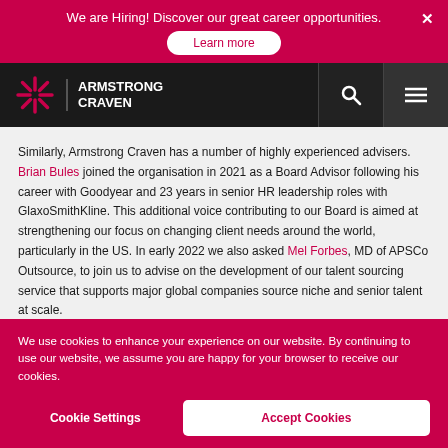We are Hiring! Discover our great career opportunities. Learn more
Armstrong Craven
Similarly, Armstrong Craven has a number of highly experienced advisers. Brian Bules joined the organisation in 2021 as a Board Advisor following his career with Goodyear and 23 years in senior HR leadership roles with GlaxoSmithKline. This additional voice contributing to our Board is aimed at strengthening our focus on changing client needs around the world, particularly in the US. In early 2022 we also asked Mel Forbes, MD of APSCo Outsource, to join us to advise on the development of our talent sourcing service that supports major global companies source niche and senior talent at scale.
Undoubtedly, senior external advisors have a wealth of different experiences
We use cookies to enhance your experience on our website. By continuing to use our website, we assume you are happy for your browser to receive our cookies.
Cookie Settings | Accept Cookies